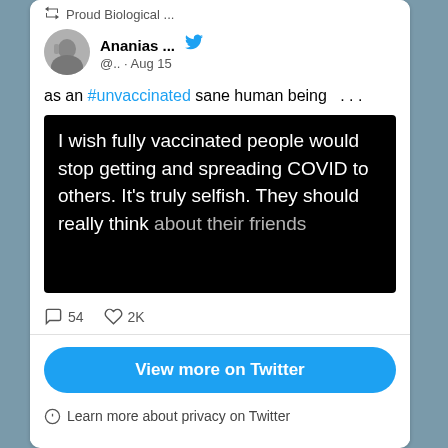Proud Biological ...
Ananias ... @.. · Aug 15
as an #unvaccinated sane human being  . . .
[Figure (screenshot): Black background image with white text: 'I wish fully vaccinated people would stop getting and spreading COVID to others. It's truly selfish. They should really think about their friends']
54  2K
View more on Twitter
Learn more about privacy on Twitter